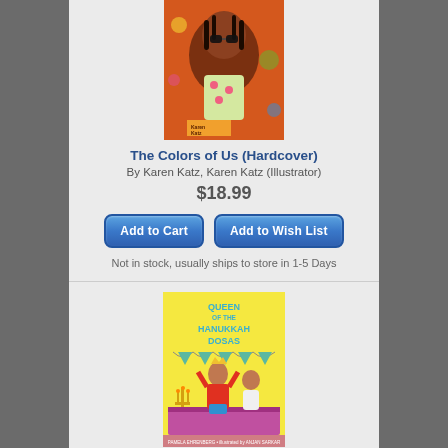[Figure (illustration): Book cover of 'The Colors of Us' showing a girl in colorful illustration style with warm orange and brown tones, author name Karen Katz visible]
The Colors of Us (Hardcover)
By Karen Katz, Karen Katz (Illustrator)
$18.99
Add to Cart
Add to Wish List
Not in stock, usually ships to store in 1-5 Days
[Figure (illustration): Book cover of 'Queen of the Hanukkah Dosas' showing two children celebrating Hanukkah with a menorah, colorful festive illustration on yellow background]
Queen of the Hanukkah Dosas (Hardcover)
By Pamela Ehrenberg, Anjan Sarkar (Illustrator)